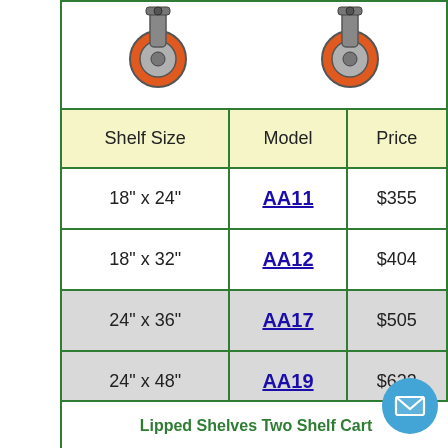[Figure (photo): Two caster wheel images shown at the top of the product section]
| Shelf Size | Model | Price |
| --- | --- | --- |
| 18" x 24" | AA11 | $355 |
| 18" x 32" | AA12 | $404 |
| 24" x 36" | AA17 | $505 |
| 24" x 48" | AA19 | $623 |
| 30" x 48" | AA24 | $743 |
| 30" x 60" | AA25 | $890 |
Lipped Shelves Two Shelf Cart